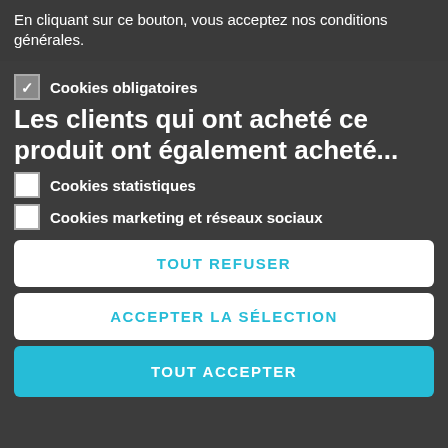En cliquant sur ce bouton, vous acceptez nos conditions générales.
Please also note that the shipping rates for many items we sell are weight-based. The weight of any such item can be found on its detail page. To reflect the policies of the shipping companies we use, all weights will be rounded up to the next full pound.
> Plus d'informations
☑ Cookies obligatoires
Les clients qui ont acheté ce produit ont également acheté...
☐ Cookies statistiques
☐ Cookies marketing et réseaux sociaux
TOUT REFUSER
ACCEPTER LA SÉLECTION
TOUT ACCEPTER